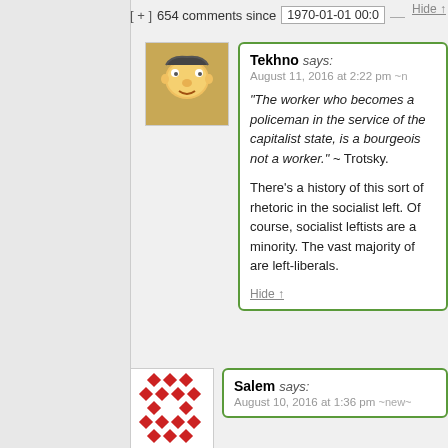[ + ]  654 comments since  1970-01-01 00:0
Hide ↑
Tekhno says: August 11, 2016 at 2:22 pm ~n
"The worker who becomes a policeman in the service of the capitalist state, is a bourgeois not a worker." ~ Trotsky.

There's a history of this sort of rhetoric in the socialist left. Of course, socialist leftists are a minority. The vast majority of are left-liberals.
Hide ↑
Salem says: August 10, 2016 at 1:36 pm ~new~